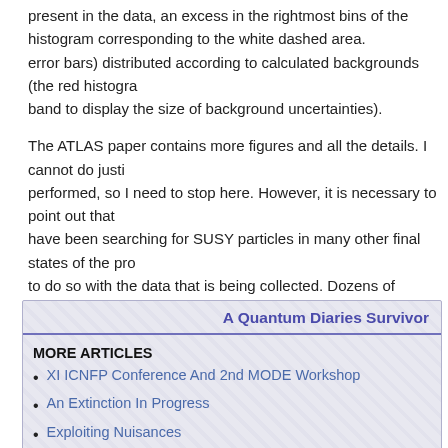present in the data, an excess in the rightmost bins of the histogram corresponding to the white dashed area. error bars) distributed according to calculated backgrounds (the red histogra band to display the size of background uncertainties).
The ATLAS paper contains more figures and all the details. I cannot do justi performed, so I need to stop here. However, it is necessary to point out that have been searching for SUSY particles in many other final states of the pro to do so with the data that is being collected. Dozens of exclusion plots such have been produced, constraining the complex SUSY parameter space mo of these analyses will one day see a significant excess of events over comp enthusiastic report in this blog; until then, however, I am growing more and m cake are consumed !
A Quantum Diaries Survivor
MORE ARTICLES
XI ICNFP Conference And 2nd MODE Workshop
An Extinction In Progress
Exploiting Nuisances